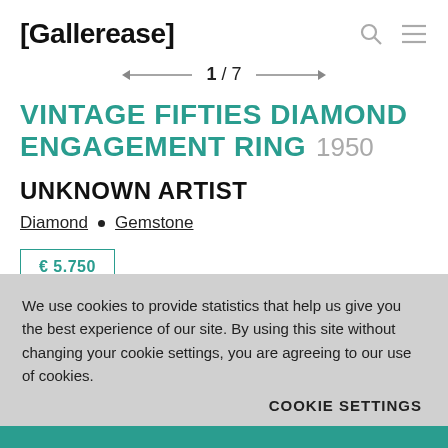[Gallerease]
1 / 7
VINTAGE FIFTIES DIAMOND ENGAGEMENT RING  1950
UNKNOWN ARTIST
Diamond • Gemstone
€ 5.750
We use cookies to provide statistics that help us give you the best experience of our site. By using this site without changing your cookie settings, you are agreeing to our use of cookies.
COOKIE SETTINGS